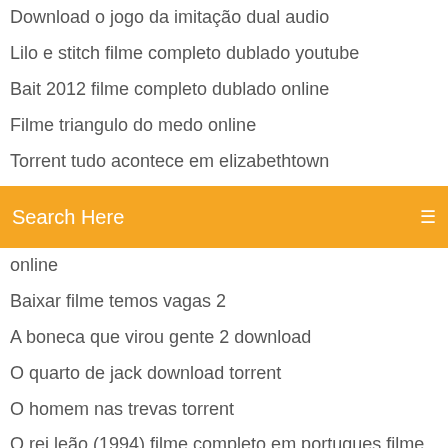Download o jogo da imitação dual audio
Lilo e stitch filme completo dublado youtube
Bait 2012 filme completo dublado online
Filme triangulo do medo online
Torrent tudo acontece em elizabethtown
The witcher 3 download pt br
Into the wild torrentking
Search Here
online
Baixar filme temos vagas 2
A boneca que virou gente 2 download
O quarto de jack download torrent
O homem nas trevas torrent
O rei leão (1994) filme completo em portugues filme completo dublado youtube
Brooklyn nine nine 4 temporada online
Os treze porques 2 temporada resumo
Ted 2 filme completo dublado